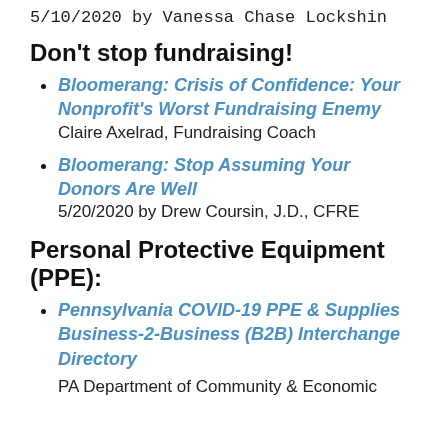5/10/2020 by Vanessa Chase Lockshin
Don't stop fundraising!
Bloomerang: Crisis of Confidence: Your Nonprofit's Worst Fundraising Enemy
Claire Axelrad, Fundraising Coach
Bloomerang: Stop Assuming Your Donors Are Well
5/20/2020 by Drew Coursin, J.D., CFRE
Personal Protective Equipment (PPE):
Pennsylvania COVID-19 PPE & Supplies Business-2-Business (B2B) Interchange Directory
PA Department of Community & Economic